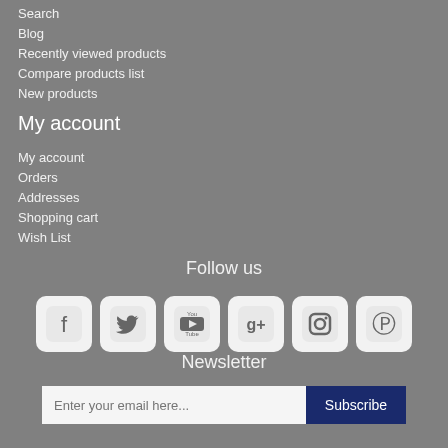Search
Blog
Recently viewed products
Compare products list
New products
My account
My account
Orders
Addresses
Shopping cart
Wish List
Follow us
[Figure (infographic): Six social media icon buttons: Facebook, Twitter, YouTube, Google+, Instagram, Pinterest]
Newsletter
Enter your email here... Subscribe